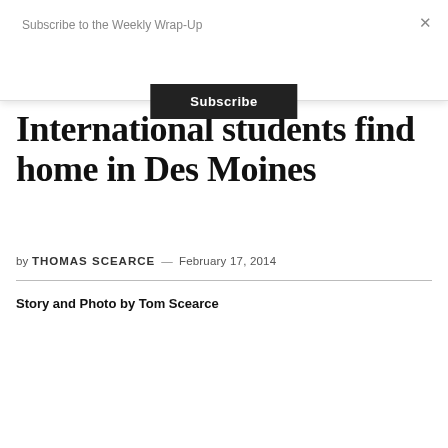Subscribe to the Weekly Wrap-Up
Subscribe
×
International students find home in Des Moines
by THOMAS SCEARCE — February 17, 2014
Story and Photo by Tom Scearce